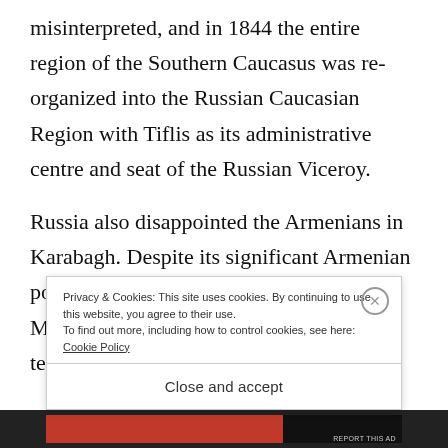misinterpreted, and in 1844 the entire region of the Southern Caucasus was re-organized into the Russian Caucasian Region with Tiflis as its administrative centre and seat of the Russian Viceroy.
Russia also disappointed the Armenians in Karabagh. Despite its significant Armenian population, Karabagh became part of the Muslim Province, which included the territories of the
Privacy & Cookies: This site uses cookies. By continuing to use this website, you agree to their use.
To find out more, including how to control cookies, see here: Cookie Policy
Close and accept